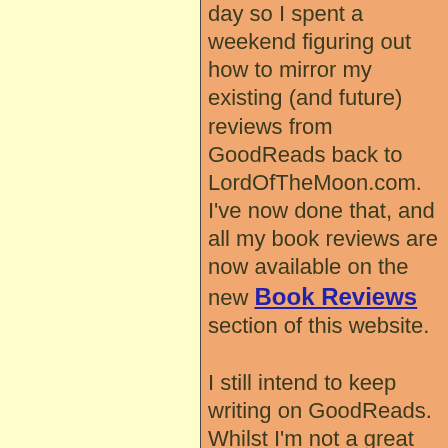day so I spent a weekend figuring out how to mirror my existing (and future) reviews from GoodReads back to LordOfTheMoon.com. I've now done that, and all my book reviews are now available on the new Book Reviews section of this website.

I still intend to keep writing on GoodReads. Whilst I'm not a great one for social media, I do quite like seeing my friends' book reviews; but each review I write will be mirrored here, for posterity